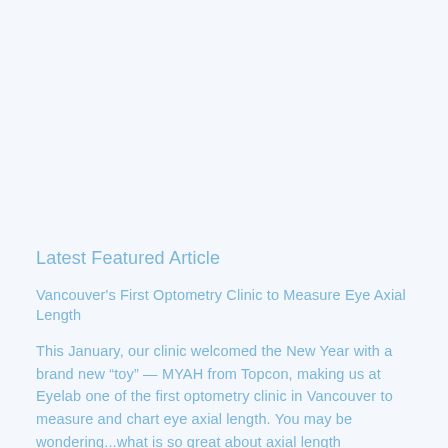Latest Featured Article
Vancouver's First Optometry Clinic to Measure Eye Axial Length
This January, our clinic welcomed the New Year with a brand new “toy” — MYAH from Topcon, making us at Eyelab one of the first optometry clinic in Vancouver to measure and chart eye axial length. You may be wondering...what is so great about axial length measurements? Why do we care about how long the [...]